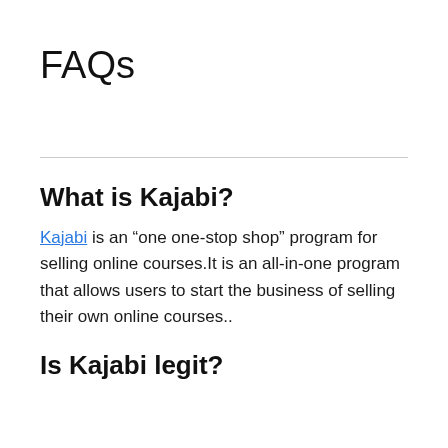FAQs
What is Kajabi?
Kajabi is an “one one-stop shop” program for selling online courses.It is an all-in-one program that allows users to start the business of selling their own online courses..
Is Kajabi legit?